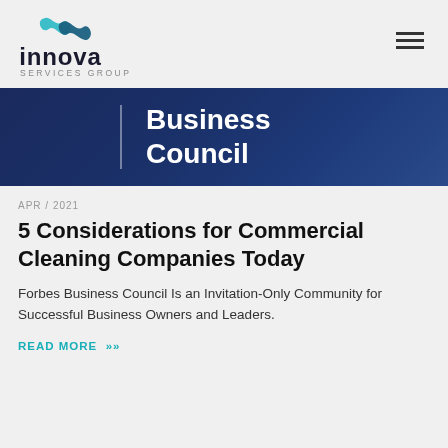[Figure (logo): Innova Services Group logo with teal/blue wave mark and 'innova SERVICES GROUP' wordmark]
[Figure (other): Dark navy blue banner with white text 'Business Council' and a vertical white divider line]
APR / 2021
5 Considerations for Commercial Cleaning Companies Today
Forbes Business Council Is an Invitation-Only Community for Successful Business Owners and Leaders.
READ MORE »